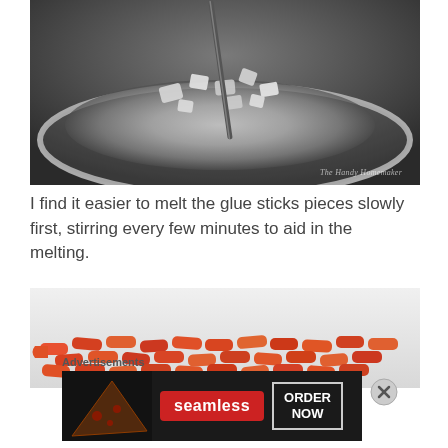[Figure (photo): Close-up overhead view of melting glue sticks in a metal bowl with a stirring rod, showing clear/silvery melted material with ice-like chunks. Watermark reads 'The Handy Homemaker' in script.]
I find it easier to melt the glue sticks pieces slowly first, stirring every few minutes to aid in the melting.
[Figure (photo): Overhead view of many small red/orange glue stick pieces cut up and spread on a white surface.]
Advertisements
[Figure (other): Seamless food delivery advertisement banner showing pizza image on left, Seamless logo in red, and 'ORDER NOW' button on dark background.]